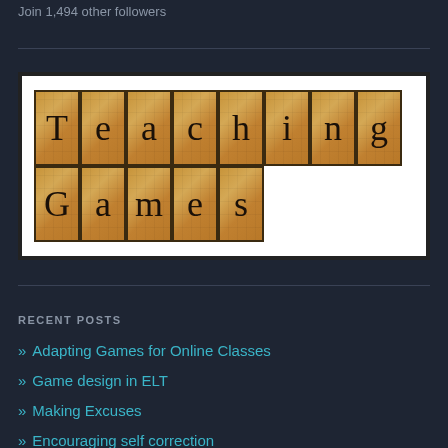Join 1,494 other followers
[Figure (illustration): Teaching Games logo made of wooden letter tiles arranged in two rows spelling 'Teaching' on top and 'Games' on bottom]
RECENT POSTS
» Adapting Games for Online Classes
» Game design in ELT
» Making Excuses
» Encouraging self correction